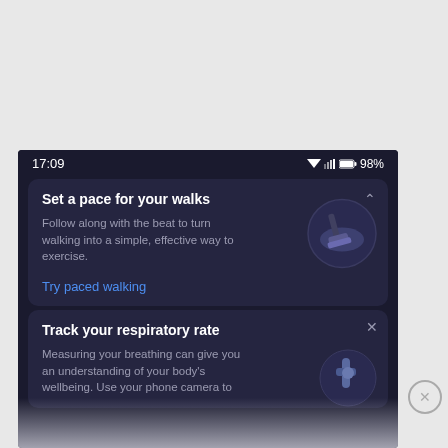[Figure (screenshot): Android smartphone screenshot showing a dark-themed fitness app. Status bar shows time 17:09 and 98% battery. Two feature cards are visible: 'Set a pace for your walks' with a walking shoe icon and a 'Try paced walking' link, and 'Track your respiratory rate' card partially visible at bottom. A dismiss circle button is visible at bottom right.]